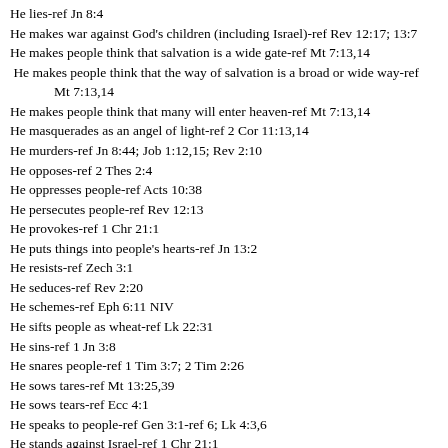He lies-ref Jn 8:4
He makes war against God's children (including Israel)-ref Rev 12:17; 13:7
He makes people think that salvation is a wide gate-ref Mt 7:13,14
He makes people think that the way of salvation is a broad or wide way-ref Mt 7:13,14
He makes people think that many will enter heaven-ref Mt 7:13,14
He masquerades as an angel of light-ref 2 Cor 11:13,14
He murders-ref Jn 8:44; Job 1:12,15; Rev 2:10
He opposes-ref 2 Thes 2:4
He oppresses people-ref Acts 10:38
He persecutes people-ref Rev 12:13
He provokes-ref 1 Chr 21:1
He puts things into people's hearts-ref Jn 13:2
He resists-ref Zech 3:1
He seduces-ref Rev 2:20
He schemes-ref Eph 6:11 NIV
He sifts people as wheat-ref Lk 22:31
He sins-ref 1 Jn 3:8
He snares people-ref 1 Tim 3:7; 2 Tim 2:26
He sows tares-ref Mt 13:25,39
He sows tears-ref Ecc 4:1
He speaks to people-ref Gen 3:1-ref 6; Lk 4:3,6
He stands against Israel-ref 1 Chr 21:1
He steals-ref Jn 10:10
He steals your possessions-ref Job 1:12-15
He takes the Word out of people's hearts-ref Mk 4:15
He takes people places-ref Mt 4:5
He tears people-ref Lk 9:42